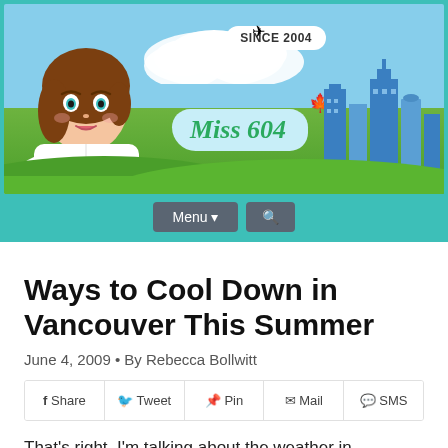[Figure (illustration): Miss604 blog header banner with illustrated female avatar on left, city skyline on right, blue sky and green hills background, 'SINCE 2004' badge, plane graphic, maple leaf, and Miss604 logo in teal/green cursive font]
Menu ▾  🔍
Ways to Cool Down in Vancouver This Summer
June 4, 2009 • By Rebecca Bollwitt
f Share  🐦 Tweet  📌 Pin  ✉ Mail  💬 SMS
That's right, I'm talking about the weather in Vancouver and I won't be mentioning rain at all. This time it's all about the extremely warm, record-breaking sunshine that's been